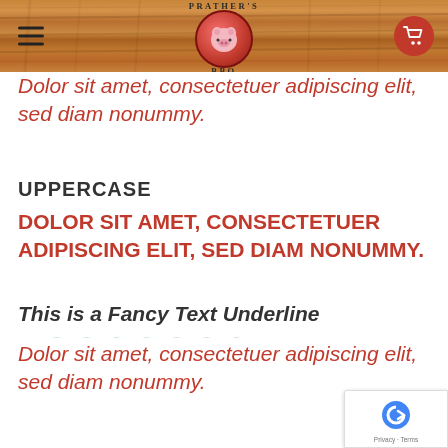PRATHER'S BBQ — navigation header with logo
Dolor sit amet, consectetuer adipiscing elit, sed diam nonummy.
UPPERCASE
DOLOR SIT AMET, CONSECTETUER ADIPISCING ELIT, SED DIAM NONUMMY.
This is a Fancy Text Underline
Dolor sit amet, consectetuer adipiscing elit, sed diam nonummy.